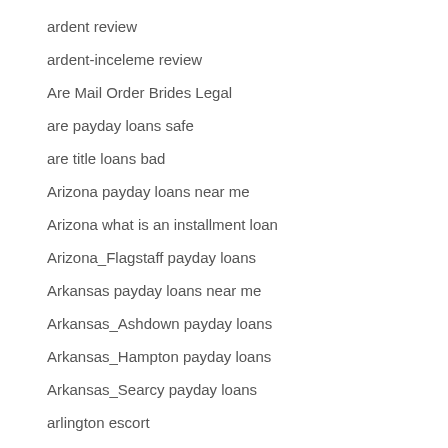ardent review
ardent-inceleme review
Are Mail Order Brides Legal
are payday loans safe
are title loans bad
Arizona payday loans near me
Arizona what is an installment loan
Arizona_Flagstaff payday loans
Arkansas payday loans near me
Arkansas_Ashdown payday loans
Arkansas_Hampton payday loans
Arkansas_Searcy payday loans
arlington escort
arlington escort near me
Arlington+VA+Virginia browse around this web-site